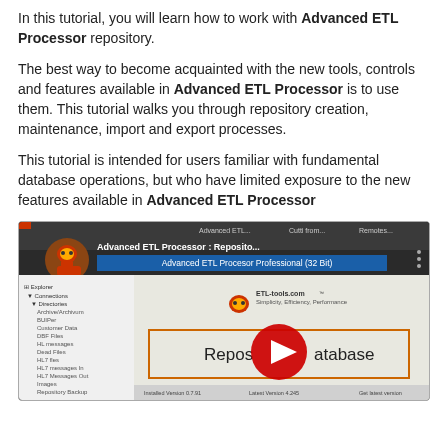In this tutorial, you will learn how to work with Advanced ETL Processor repository.
The best way to become acquainted with the new tools, controls and features available in Advanced ETL Processor is to use them. This tutorial walks you through repository creation, maintenance, import and export processes.
This tutorial is intended for users familiar with fundamental database operations, but who have limited exposure to the new features available in Advanced ETL Processor
[Figure (screenshot): A YouTube video thumbnail showing Advanced ETL Processor: Repository tutorial. The video shows the Advanced ETL Processor Professional (32 Bit) application interface with a tree of connections/directories on the left, and a central area showing 'Reposiitory Database' text with the YouTube play button. The ETL-tools.com logo is visible with tagline 'Simplicity, Efficiency, Performance'.]